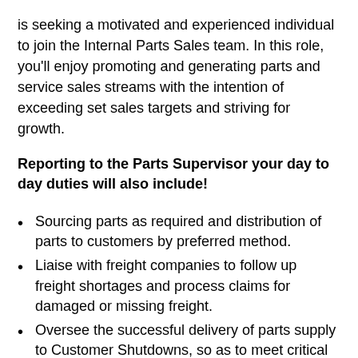is seeking a motivated and experienced individual to join the Internal Parts Sales team. In this role, you'll enjoy promoting and generating parts and service sales streams with the intention of exceeding set sales targets and striving for growth.
Reporting to the Parts Supervisor your day to day duties will also include!
Sourcing parts as required and distribution of parts to customers by preferred method.
Liaise with freight companies to follow up freight shortages and process claims for damaged or missing freight.
Oversee the successful delivery of parts supply to Customer Shutdowns, so as to meet critical deadlines.
Processing orders in a timely manner to ensure customer delivery dates are met.